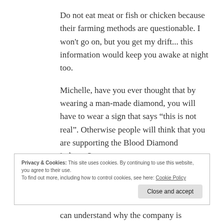Do not eat meat or fish or chicken because their farming methods are questionable. I won’t go on, but you get my drift... this information would keep you awake at night too.
Michelle, have you ever thought that by wearing a man-made diamond, you will have to wear a sign that says “this is not real”. Otherwise people will think that you are supporting the Blood Diamond industry?
Privacy & Cookies: This site uses cookies. By continuing to use this website, you agree to their use.
To find out more, including how to control cookies, see here: Cookie Policy
can understand why the company is